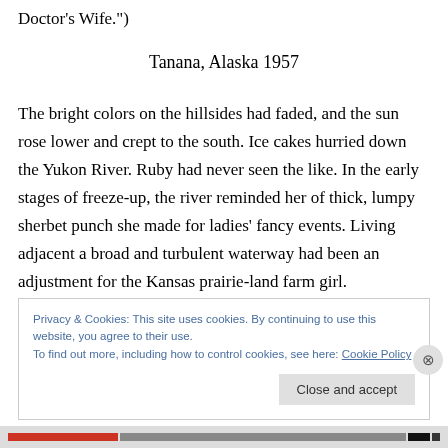Doctor's Wife.")
Tanana, Alaska 1957
The bright colors on the hillsides had faded, and the sun rose lower and crept to the south. Ice cakes hurried down the Yukon River. Ruby had never seen the like. In the early stages of freeze-up, the river reminded her of thick, lumpy sherbet punch she made for ladies' fancy events. Living adjacent a broad and turbulent waterway had been an adjustment for the Kansas prairie-land farm girl.
Privacy & Cookies: This site uses cookies. By continuing to use this website, you agree to their use.
To find out more, including how to control cookies, see here: Cookie Policy
Close and accept